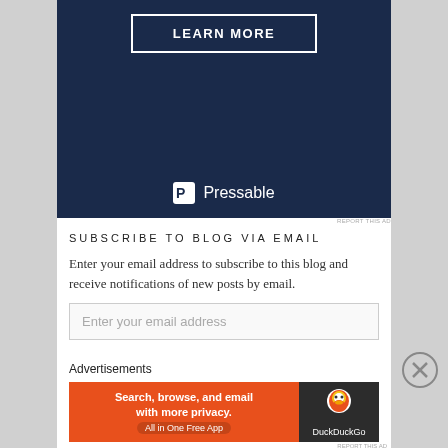[Figure (screenshot): Dark navy blue advertisement banner showing 'BUSINESS.' text at top (cropped), a 'LEARN MORE' button with white border, and the Pressable logo at the bottom]
REPORT THIS AD
SUBSCRIBE TO BLOG VIA EMAIL
Enter your email address to subscribe to this blog and receive notifications of new posts by email.
Enter your email address
Advertisements
[Figure (screenshot): DuckDuckGo advertisement banner: orange left half with text 'Search, browse, and email with more privacy. All in One Free App', dark right half with DuckDuckGo duck logo and text 'DuckDuckGo']
REPORT THIS AD